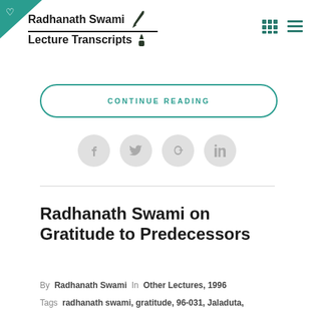Radhanath Swami Lecture Transcript
CONTINUE READING
[Figure (other): Social sharing icons: Facebook, Twitter, Google+, LinkedIn — circular grey buttons]
Radhanath Swami on Gratitude to Predecessors
By Radhanath Swami In Other Lectures, 1996
Tags radhanath swami, gratitude, 96-031, Jaladuta,